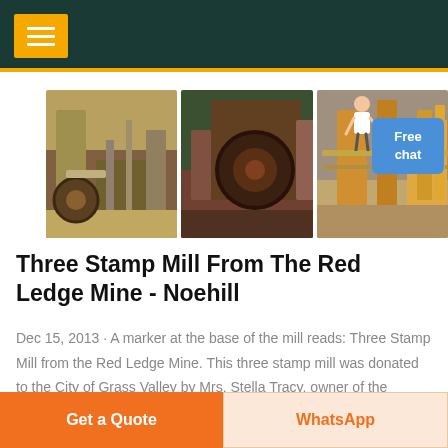Navigation menu header bar
[Figure (photo): Three photos of industrial stamp mill and mining equipment]
Three Stamp Mill From The Red Ledge Mine - Noehill
Dec 15, 2013 · A marker at the base of the mill reads: Three Stamp Mill from the Red Ledge Mine. This three stamp mill was donated to the City of Grass Valley by Mrs. Stella Tracy, owner of the famous Red Ledge Mine near Washington, Nevada
Get a Quote | WhatsApp